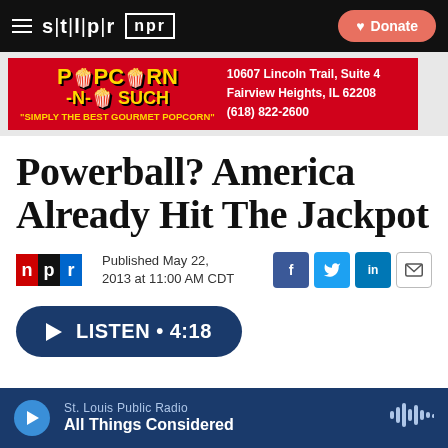stl|pr  npr  Donate
[Figure (other): Popcorn-N-Such advertisement banner. Red background with yellow logo text. 10607 Lincoln Trail, Suite 4, Fairview Heights, IL 62208, (618) 822-2600. 'SIMPLY THE BEST GOURMET POPCORN']
Powerball? America Already Hit The Jackpot
Published May 22, 2013 at 11:00 AM CDT
LISTEN • 4:18
St. Louis Public Radio  All Things Considered